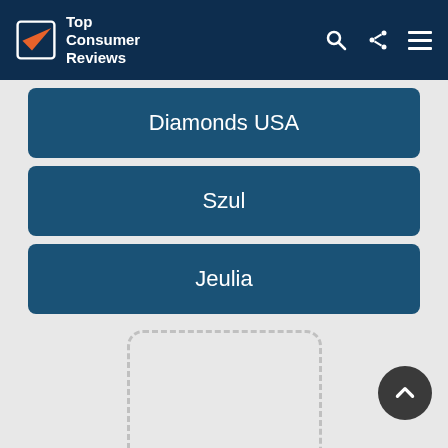Top Consumer Reviews
Diamonds USA
Szul
Jeulia
[Figure (other): Advertisement placeholder box (dashed border rectangle)]
[Figure (other): Advertisement placeholder box (dashed border rectangle, partially visible)]